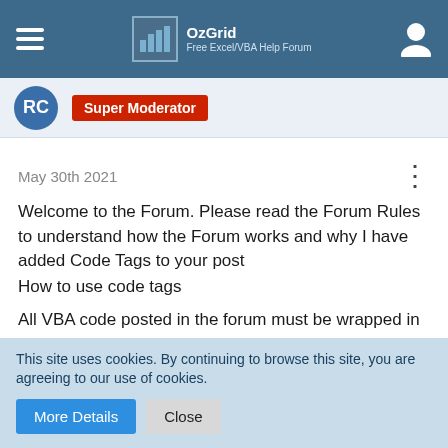OzGrid — Free Excel/VBA Help Forum
Super Moderator
May 30th 2021
Welcome to the Forum. Please read the Forum Rules to understand how the Forum works and why I have added Code Tags to your post
All VBA code posted in the forum must be wrapped in code tags, which you omitted, including single-line code snippets.Be sure to use them in future posts.
How to use code tags
This site uses cookies. By continuing to browse this site, you are agreeing to our use of cookies.